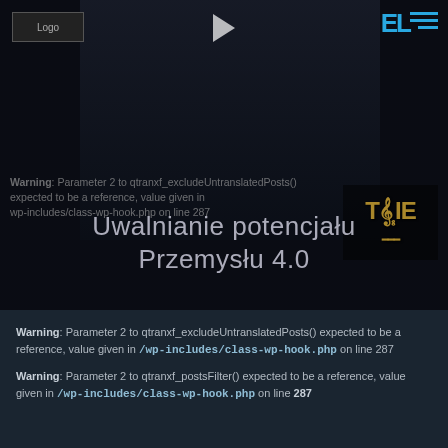[Figure (screenshot): Dark hero section with a play button icon at top center and a semi-transparent background showing a figure/person. Contains a logo placeholder top-left, a cyan EL logo and hamburger menu top-right, and a branded corner logo bottom-right.]
Uwalnianie potencjału Przemysłu 4.0
Warning: Parameter 2 to qtranxf_excludeUntranslatedPosts() expected to be a reference, value given in /wp-includes/class-wp-hook.php on line 287
Warning: Parameter 2 to qtranxf_postsFilter() expected to be a reference, value given in /wp-includes/class-wp-hook.php on line 287